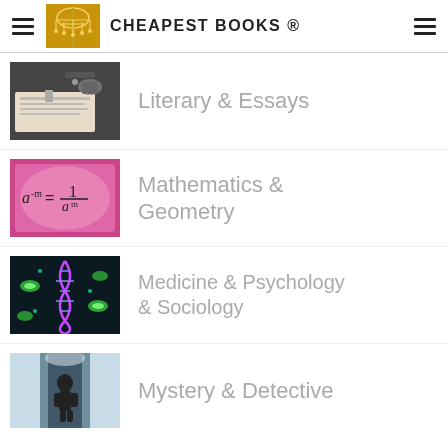CHEAPEST BOOKS ®
Literary & Essays
Mathematics & Geometry
Medicine & Psychology & Sociology
Mystery & Detective